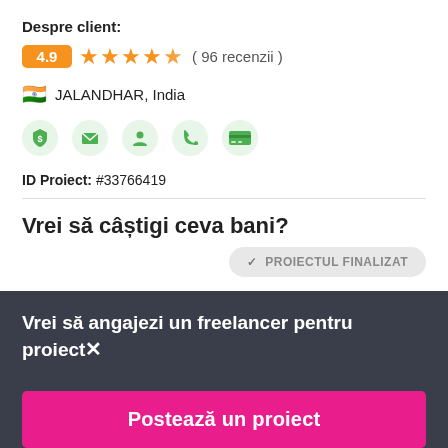Despre client:
4.9 ★★★★★ ( 96 recenzii )
🇮🇳 JALANDHAR, India
[Figure (infographic): Row of 5 green icons: dollar shield, envelope, person, phone, credit card]
ID Proiect: #33766419
Vrei să câștigi ceva bani?
✓ PROIECTUL FINALIZAT
Vrei să angajezi un freelancer pentru proiect✕
Postează un proiect